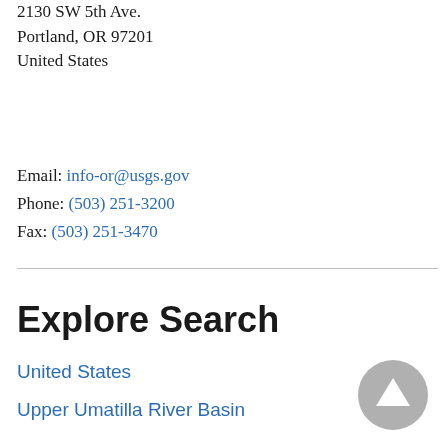2130 SW 5th Ave.
Portland, OR 97201
United States
Email: info-or@usgs.gov
Phone: (503) 251-3200
Fax: (503) 251-3470
Explore Search
United States
Upper Umatilla River Basin